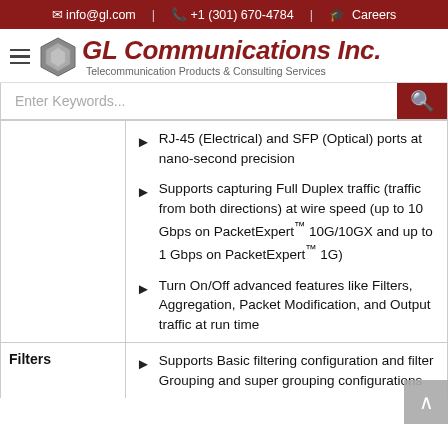info@gl.com  +1 (301) 670-4784  Careers
[Figure (logo): GL Communications Inc. logo with hexagon icon and tagline 'Telecommunication Products & Consulting Services']
Enter Keywords...
RJ-45 (Electrical) and SFP (Optical) ports at nano-second precision
Supports capturing Full Duplex traffic (traffic from both directions) at wire speed (up to 10 Gbps on PacketExpert™ 10G/10GX and up to 1 Gbps on PacketExpert™ 1G)
Turn On/Off advanced features like Filters, Aggregation, Packet Modification, and Output traffic at run time
|  | Features |
| --- | --- |
| Filters | Supports Basic filtering configuration and filter Grouping and super grouping configurations (partial) |